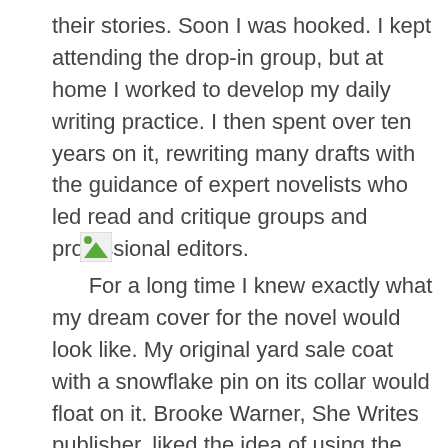their stories. Soon I was hooked. I kept attending the drop-in group, but at home I worked to develop my daily writing practice. I then spent over ten years on it, rewriting many drafts with the guidance of expert novelists who led read and critique groups and professional editors.
[Figure (other): Broken image placeholder icon (small image with green triangle/mountain shape)]
For a long time I knew exactly what my dream cover for the novel would look like. My original yard sale coat with a snowflake pin on its collar would float on it. Brooke Warner, She Writes publisher, liked the idea of using the original coat and had me ship it to Julie Metz, the cover designer on the East Coast. A week later I received a draft attached to an email and a chill